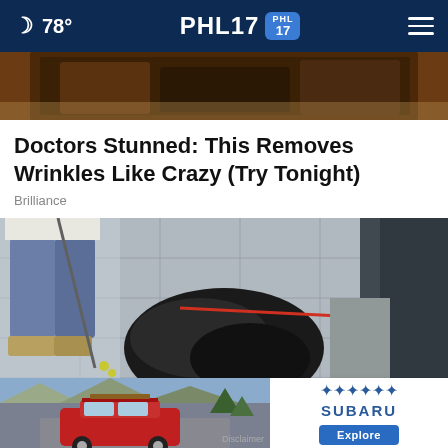78° PHL17
[Figure (photo): Partial top portion of an article image showing a dark brown soil or dirt surface texture]
Doctors Stunned: This Removes Wrinkles Like Crazy (Try Tonight)
Brilliance
[Figure (photo): A person walking a dog on a leash on what appears to be a tiled or paved outdoor surface, viewed from an unusual angle. A red leash is visible. A close button (X) overlays the image at bottom right.]
[Figure (photo): Advertisement showing a red Subaru SUV driving on a mountain road, with a Subaru logo and Explore button on the right side, and a Disclaimer label at bottom right.]